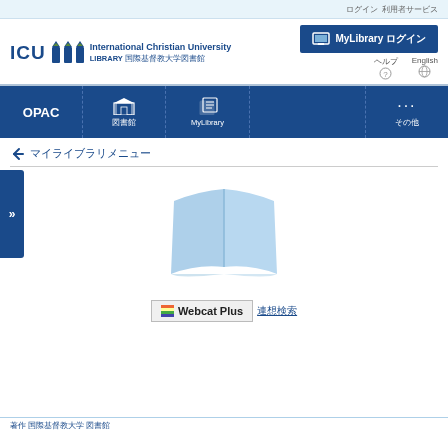ログイン　利用者サービス
[Figure (logo): ICU International Christian University LIBRARY 国際基督教大学図書館 logo with tree icons]
MyLibrary ログイン
ヘルプ
English
[Figure (screenshot): Navigation bar with OPAC, 図書館, MyLibrary, ..., その他 menu items on blue background]
↩ マイライブラリメニュー
[Figure (illustration): Open book icon in light blue color]
Webcat Plus 連想検索
著作 国際基督教大学 図書館